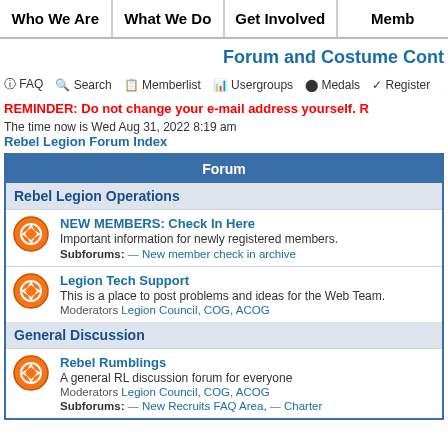Who We Are | What We Do | Get Involved | Memb
Forum and Costume Cont
FAQ  Search  Memberlist  Usergroups  Medals  Register  Profi
REMINDER: Do not change your e-mail address yourself. R
The time now is Wed Aug 31, 2022 8:19 am
Rebel Legion Forum Index
| Forum |
| --- |
| Rebel Legion Operations |
| NEW MEMBERS: Check In Here
Important information for newly registered members.
Subforums: → New member check in archive |
| Legion Tech Support
This is a place to post problems and ideas for the Web Team.
Moderators Legion Council, COG, ACOG |
| General Discussion |
| Rebel Rumblings
A general RL discussion forum for everyone
Moderators Legion Council, COG, ACOG
Subforums: → New Recruits FAQ Area, → Charter |